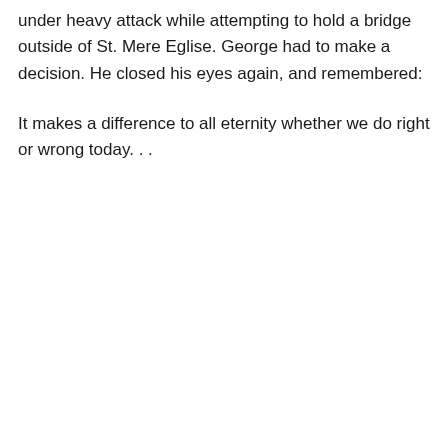under heavy attack while attempting to hold a bridge outside of St. Mere Eglise. George had to make a decision. He closed his eyes again, and remembered:
It makes a difference to all eternity whether we do right or wrong today. . .